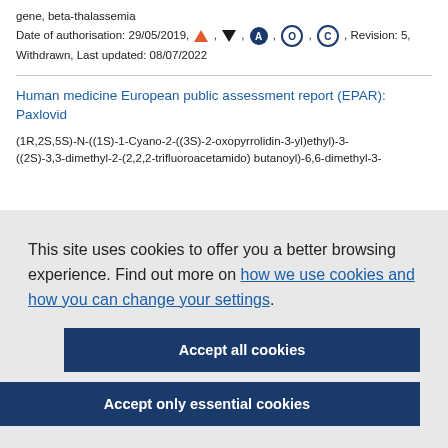gene, beta-thalassemia
Date of authorisation: 29/05/2019, [triangle-up], [triangle-down], A, O, C, Revision: 5, Withdrawn, Last updated: 08/07/2022
Human medicine European public assessment report (EPAR): Paxlovid
(1R,2S,5S)-N-((1S)-1-Cyano-2-((3S)-2-oxopyrrolidin-3-yl)ethyl)-3-((2S)-3,3-dimethyl-2-(2,2,2-trifluoroacetamido) butanoyl)-6,6-dimethyl-3-
This site uses cookies to offer you a better browsing experience. Find out more on how we use cookies and how you can change your settings.
Accept all cookies
Accept only essential cookies